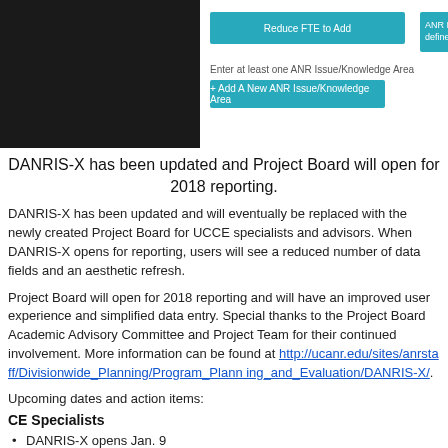[Figure (screenshot): Screenshot of DANRIS-X interface showing UI elements: a black box on the left, teal 'Reduce FTE to Add' button, teal 'ANR Issues and Knowledge Areas must be defined before Project/Programs' button, 'Enter at least one ANR Issue/Knowledge Area' text, and a teal '+ Add A New ANR Issue/Knowledge Area' button]
DANRIS-X has been updated and Project Board will open for 2018 reporting.
DANRIS-X has been updated and will eventually be replaced with the newly created Project Board for UCCE specialists and advisors. When DANRIS-X opens for reporting, users will see a reduced number of data fields and an aesthetic refresh.
Project Board will open for 2018 reporting and will have an improved user experience and simplified data entry. Special thanks to the Project Board Academic Advisory Committee and Project Team for their continued involvement. More information can be found at http://ucanr.edu/sites/anrstaff/Divisionwide_Planning/Program_Planning_and_Evaluation/DANRIS-X/.
Upcoming dates and action items:
CE Specialists
DANRIS-X opens Jan. 9
All CE specialists are invited to the Zoom webinar trainings offered on Jan. 20, from 10 a.m. to 11:30 a.m., or Jan. 24, from 2 p.m. to